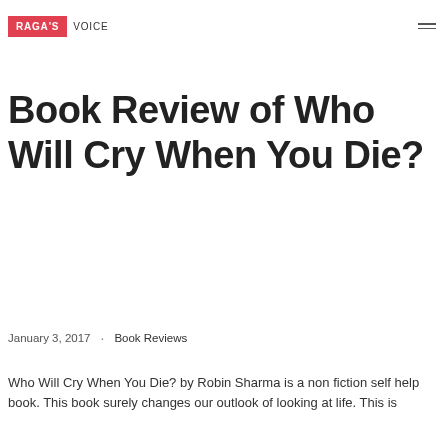RAGA'S VOICE
Book Review of Who Will Cry When You Die?
January 3, 2017 · Book Reviews
Who Will Cry When You Die? by Robin Sharma is a non fiction self help book. This book surely changes our outlook of looking at life. This is